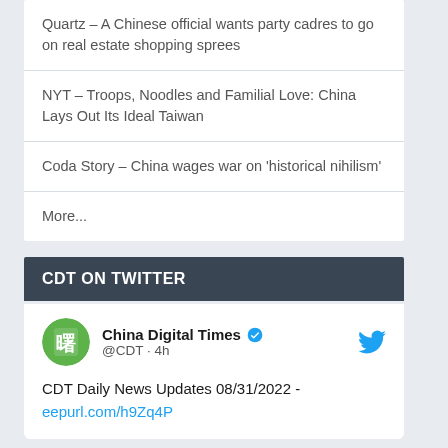Quartz – A Chinese official wants party cadres to go on real estate shopping sprees
NYT – Troops, Noodles and Familial Love: China Lays Out Its Ideal Taiwan
Coda Story – China wages war on 'historical nihilism'
More...
CDT ON TWITTER
China Digital Times @CDT · 4h
CDT Daily News Updates 08/31/2022 - eepurl.com/h9Zq4P